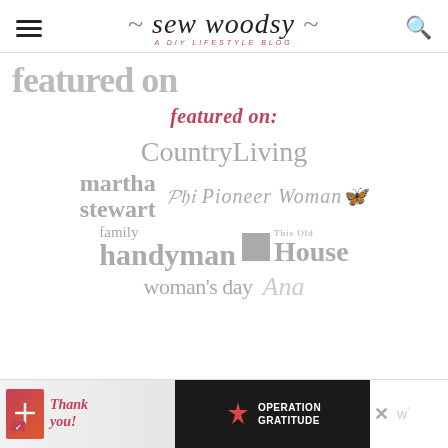sew woodsy — A DIY LIFESTYLE BLOG
Featured on
[Figure (infographic): Featured on logos collage: featured on: (pink italic), CountryLiving, martha stewart, The Pioneer Woman, This Old House, family handyman, woman's day, Ana (partial)]
[Figure (screenshot): Advertisement bar: Thank you! Operation Gratitude ad with close button and w logo]